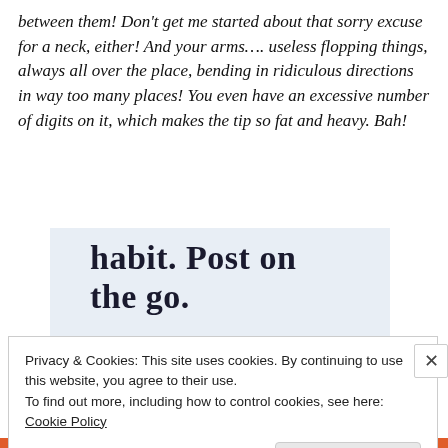between them! Don't get me started about that sorry excuse for a neck, either! And your arms…. useless flopping things, always all over the place, bending in ridiculous directions in way too many places! You even have an excessive number of digits on it, which makes the tip so fat and heavy. Bah!
[Figure (other): Advertisement banner with light blue background showing partial text 'habit. Post on the go.' and a 'GET THE APP' link with WordPress logo]
Privacy & Cookies: This site uses cookies. By continuing to use this website, you agree to their use. To find out more, including how to control cookies, see here: Cookie Policy
Close and accept